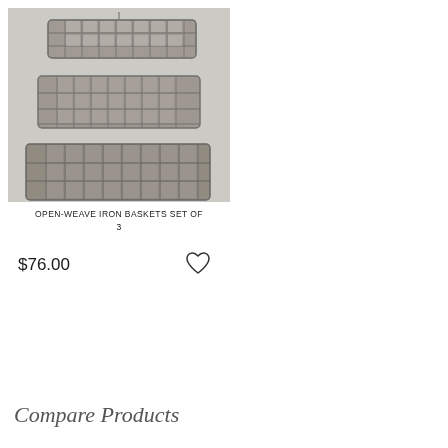[Figure (photo): Three open-weave metal iron baskets stacked/displayed vertically, varying in size from smallest at top to largest at bottom, with a grid/lattice pattern. Aged gray metal finish. Set against a light gray background.]
OPEN-WEAVE IRON BASKETS SET OF 3
$76.00
Compare Products